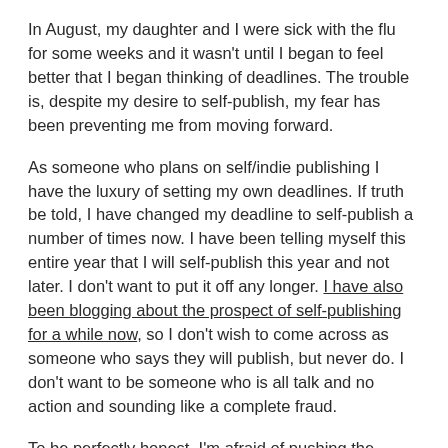In August, my daughter and I were sick with the flu for some weeks and it wasn't until I began to feel better that I began thinking of deadlines. The trouble is, despite my desire to self-publish, my fear has been preventing me from moving forward.
As someone who plans on self/indie publishing I have the luxury of setting my own deadlines. If truth be told, I have changed my deadline to self-publish a number of times now. I have been telling myself this entire year that I will self-publish this year and not later. I don't want to put it off any longer. I have also been blogging about the prospect of self-publishing for a while now, so I don't wish to come across as someone who says they will publish, but never do. I don't want to be someone who is all talk and no action and sounding like a complete fraud.
To be perfectly honest, I'm afraid of pushing the 'publish'